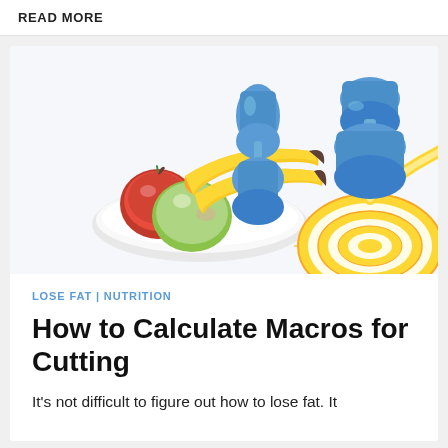READ MORE
[Figure (photo): Photo of a white plate with fruits (two apples, bananas), a yellow measuring tape coiled beside the plate, and two blue dumbbells in the background on a white surface.]
LOSE FAT | NUTRITION
How to Calculate Macros for Cutting
It's not difficult to figure out how to lose fat. It